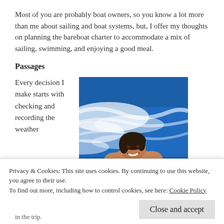Most of you are probably boat owners, so you know a lot more than me about sailing and boat systems, but, I offer my thoughts on planning the bareboat charter to accommodate a mix of sailing, swimming, and enjoying a good meal.
Passages
Every decision I make starts with checking and recording the weather
[Figure (photo): A smiling woman swimming in the ocean wake behind a boat, holding onto a blue buoy, bright blue water with white foam.]
Privacy & Cookies: This site uses cookies. By continuing to use this website, you agree to their use.
To find out more, including how to control cookies, see here: Cookie Policy
in the trip.